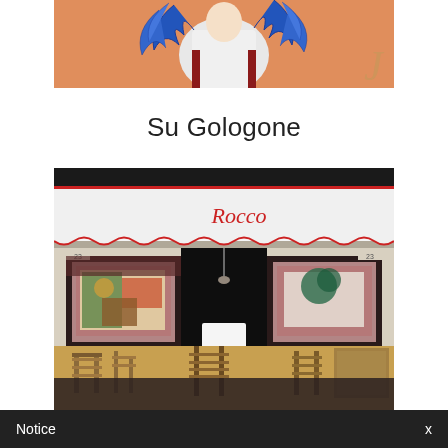[Figure (photo): Close-up photo of a painted figurine or mural on an orange wall, showing a figure wearing blue and white costume with blue feathers]
Su Gologone
[Figure (photo): Photo of a restaurant exterior called 'Rocco' with a white striped awning, wooden chairs and tables on the terrace, and artwork in the windows]
Notice   x